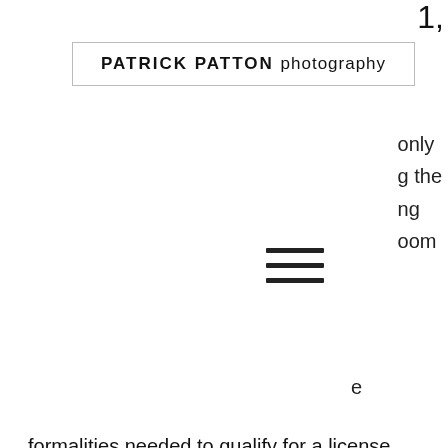1,
[Figure (logo): PATRICK PATTON photography logo inside a rectangular border]
only
g the
ng
oom
[Figure (infographic): Hamburger menu icon (three horizontal lines)]
e
formalities needed to qualify for a license, and the rigorous requirements needed to keep one. Very often, online casinos that violate regulations are sanctioned with fines, and sometimes get penalties going as far as the cancellation of the license itself. On that note, we have compiled summaries of the best reload bonuses, Cashbacks, Free Spins, Special bonus features, and loyalty points programs from the hottest Pay N Play Casinos in the Market today, poker room